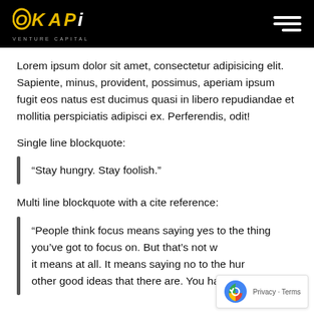OKAPI VENTURE CAPITAL
Lorem ipsum dolor sit amet, consectetur adipisicing elit. Sapiente, minus, provident, possimus, aperiam ipsum fugit eos natus est ducimus quasi in libero repudiandae et mollitia perspiciatis adipisci ex. Perferendis, odit!
Single line blockquote:
“Stay hungry. Stay foolish.”
Multi line blockquote with a cite reference:
“People think focus means saying yes to the thing you’ve got to focus on. But that’s not what it means at all. It means saying no to the hun... other good ideas that there are. You have to pick